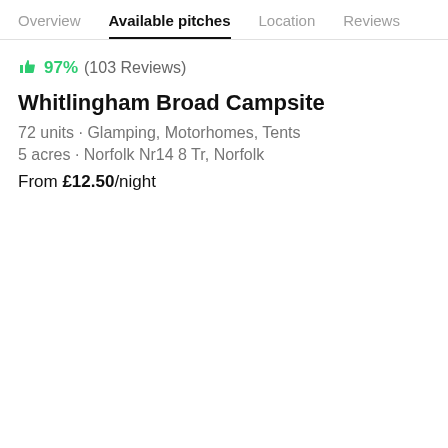Overview | Available pitches | Location | Reviews
👍 97% (103 Reviews)
Whitlingham Broad Campsite
72 units · Glamping, Motorhomes, Tents
5 acres · Norfolk Nr14 8 Tr, Norfolk
From £12.50/night